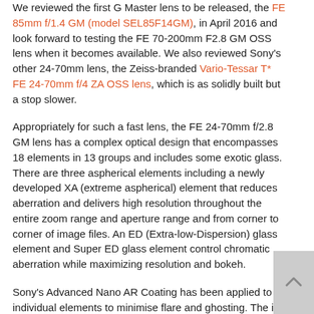We reviewed the first G Master lens to be released, the FE 85mm f/1.4 GM (model SEL85F14GM), in April 2016 and look forward to testing the FE 70-200mm F2.8 GM OSS lens when it becomes available. We also reviewed Sony's other 24-70mm lens, the Zeiss-branded Vario-Tessar T* FE 24-70mm f/4 ZA OSS lens, which is as solidly built but a stop slower.
Appropriately for such a fast lens, the FE 24-70mm f/2.8 GM lens has a complex optical design that encompasses 18 elements in 13 groups and includes some exotic glass. There are three aspherical elements including a newly developed XA (extreme aspherical) element that reduces aberration and delivers high resolution throughout the entire zoom range and aperture range and from corner to corner of image files. An ED (Extra-low-Dispersion) glass element and Super ED glass element control chromatic aberration while maximizing resolution and bokeh.
Sony's Advanced Nano AR Coating has been applied to individual elements to minimise flare and ghosting. The iris diaphragm (which controls lens